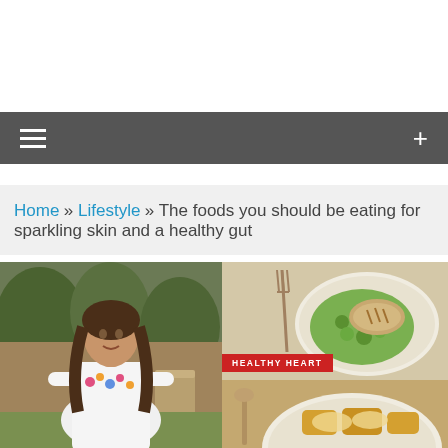Home » Lifestyle » The foods you should be eating for sparkling skin and a healthy gut
[Figure (photo): Woman in white floral embroidered top standing in a garden]
[Figure (photo): Plate of healthy food with green vegetables and fish, labeled HEALTHY HEART]
[Figure (photo): Plate of food with sauce, partially visible]